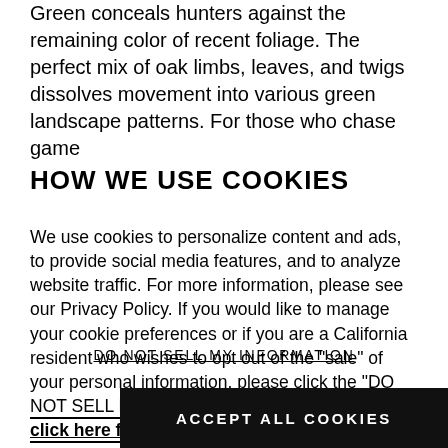Green conceals hunters against the remaining color of recent foliage. The perfect mix of oak limbs, leaves, and twigs dissolves movement into various green landscape patterns. For those who chase game
HOW WE USE COOKIES
We use cookies to personalize content and ads, to provide social media features, and to analyze website traffic. For more information, please see our Privacy Policy. If you would like to manage your cookie preferences or if you are a California resident who wishes to opt out of the "sale" of your personal information, please click the "DO NOT SELL MY INFORMATION" link. Please click here for our Privacy Policy.
DO NOT SELL MY INFORMATION
ACCEPT ALL COOKIES